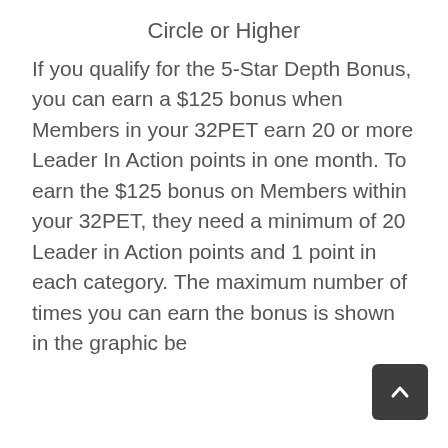Circle or Higher
If you qualify for the 5-Star Depth Bonus, you can earn a $125 bonus when Members in your 32PET earn 20 or more Leader In Action points in one month. To earn the $125 bonus on Members within your 32PET, they need a minimum of 20 Leader in Action points and 1 point in each category. The maximum number of times you can earn the bonus is shown in the graphic below